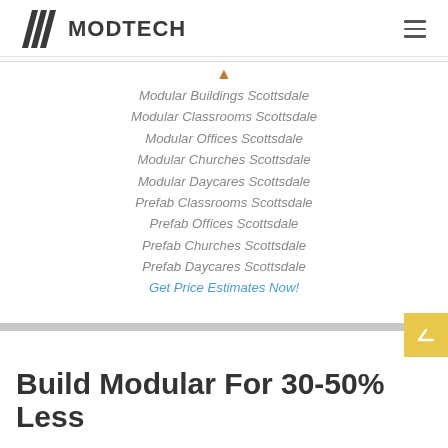MODTECH
Modular Buildings Scottsdale
Modular Classrooms Scottsdale
Modular Offices Scottsdale
Modular Churches Scottsdale
Modular Daycares Scottsdale
Prefab Classrooms Scottsdale
Prefab Offices Scottsdale
Prefab Churches Scottsdale
Prefab Daycares Scottsdale
Get Price Estimates Now!
Build Modular For 30-50% Less